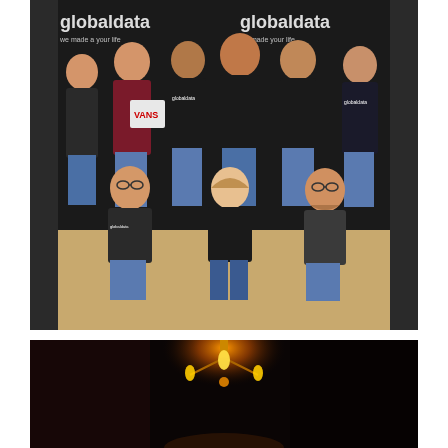[Figure (photo): Group photo of approximately 9 people wearing Globaldata branded t-shirts and hoodies, posing in front of a Globaldata backdrop banner. Three people are kneeling in front and six are standing behind. The setting appears to be an office or meeting room with a cork floor.]
[Figure (photo): Dark indoor photo showing a decorative light fixture or chandelier with a warm orange glow, photographed from below against a dark ceiling in what appears to be a restaurant or event venue.]